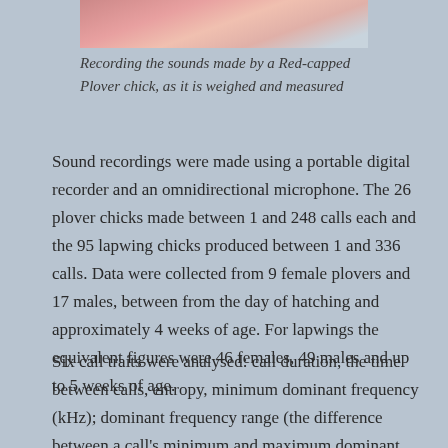[Figure (photo): Partial view of a photo showing a Red-capped Plover chick being held, with red-painted fingernails visible]
Recording the sounds made by a Red-capped Plover chick, as it is weighed and measured
Sound recordings were made using a portable digital recorder and an omnidirectional microphone. The 26 plover chicks made between 1 and 248 calls each and the 95 lapwing chicks produced between 1 and 336 calls. Data were collected from 9 female plovers and 17 males, between from the day of hatching and approximately 4 weeks of age. For lapwings the equivalent figures were 46 females, 49 males and up to 5 weeks of age.
Six call traits were analysed: call duration, the time between calls, entropy, minimum dominant frequency (kHz); dominant frequency range (the difference between a call's minimum and maximum dominant